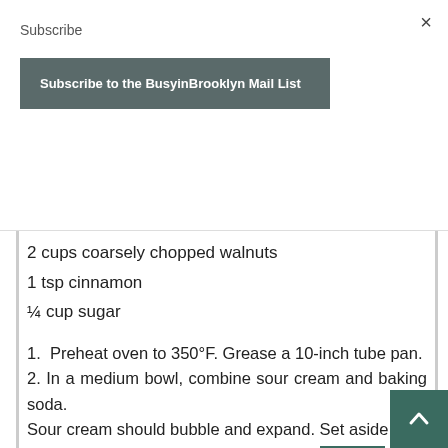×
Subscribe
Subscribe to the BusyinBrooklyn Mail List
2 cups coarsely chopped walnuts
1 tsp cinnamon
¼ cup sugar
1.  Preheat oven to 350°F. Grease a 10-inch tube pan.
2. In a medium bowl, combine sour cream and baking soda.
Sour cream should bubble and expand. Set aside.
3. In the bowl of an electric mixer, combi butter and sugar.
Beat until light and creamy. Add eggs